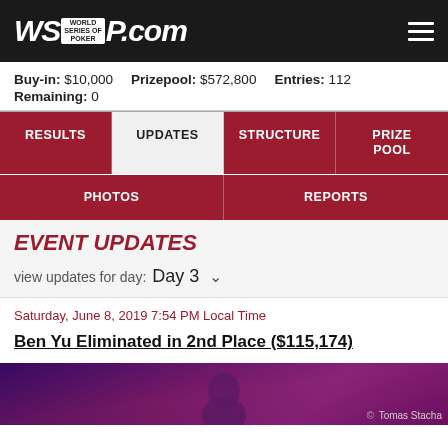WSOP.com
Buy-in: $10,000   Prizepool: $572,800   Entries: 112   Remaining: 0
RESULTS
UPDATES
STRUCTURE
PRIZE POOL
PHOTOS
REPORTS
EVENT UPDATES
view updates for day:  Day 3
Saturday, June 8, 2019 7:54 PM Local Time
Ben Yu Eliminated in 2nd Place ($115,174)
[Figure (photo): Photo of person, dark purple/magenta background, credit: Tomas Stacha]